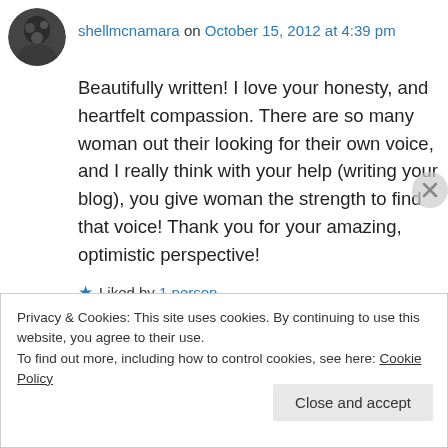shellmcnamara on October 15, 2012 at 4:39 pm
Beautifully written! I love your honesty, and heartfelt compassion. There are so many woman out their looking for their own voice, and I really think with your help (writing your blog), you give woman the strength to find that voice! Thank you for your amazing, optimistic perspective!
★ Liked by 1 person
↳ Reply
Privacy & Cookies: This site uses cookies. By continuing to use this website, you agree to their use. To find out more, including how to control cookies, see here: Cookie Policy
Close and accept